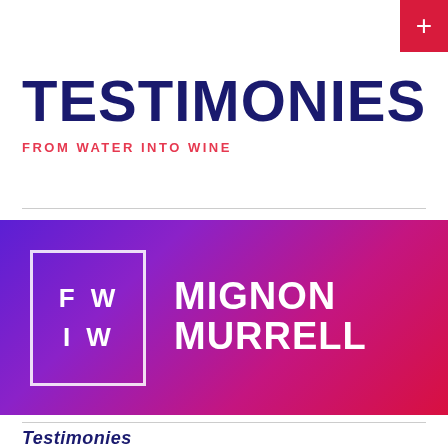+
TESTIMONIES
FROM WATER INTO WINE
[Figure (logo): FWIW logo box with letters F W on top row and I W on bottom row, beside the name MIGNON MURRELL, on a purple-to-red gradient background]
Testimonies